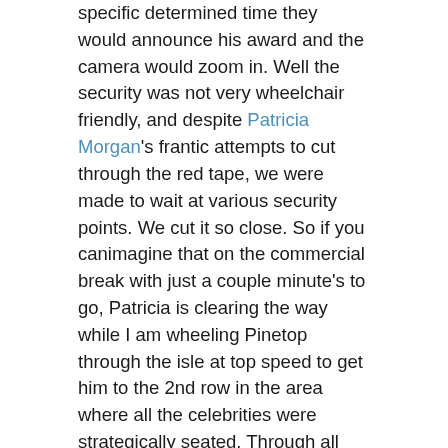specific determined time they would announce his award and the camera would zoom in. Well the security was not very wheelchair friendly, and despite Patricia Morgan's frantic attempts to cut through the red tape, we were made to wait at various security points. We cut it so close. So if you canimagine that on the commercial break with just a couple minute's to go, Patricia is clearing the way while I am wheeling Pinetop through the isle at top speed to get him to the 2nd row in the area where all the celebrities were strategically seated. Through all this rush, Pinetop was cool as can be. We got him to his seat, and he when it was his time, he waived to the camera and smiled for all the world to see! A few years later Pinetop got his second Grammy for his part in the CD Last Of The Delta Bluesmen. I remember a great moment at the Grammy after-party when Kim Danielson (My girlfriend of that time) and I took Pinetop outside for a smoke. I remember how lucky we felt as we watched this happy and satisfied man, puffing on his cigarette, and recalling stories of playing with Robert Nighthawk years ago in the deep south. After just receiving the highest musical honor, it was an amazing contrast of this man's experiences. It was also a joy to feature Pinetop as part of Willie "Big Eyes" Smith CD "Way